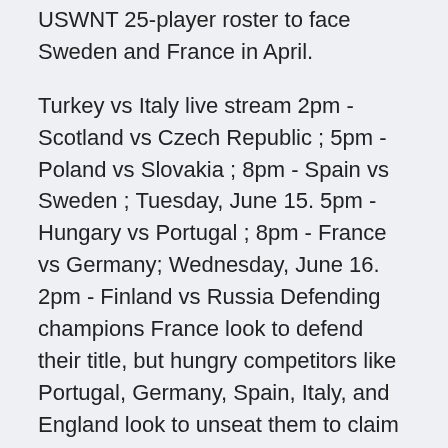USWNT 25-player roster to face Sweden and France in April.
Turkey vs Italy live stream 2pm - Scotland vs Czech Republic ; 5pm - Poland vs Slovakia ; 8pm - Spain vs Sweden ; Tuesday, June 15. 5pm - Hungary vs Portugal ; 8pm - France vs Germany; Wednesday, June 16. 2pm - Finland vs Russia Defending champions France look to defend their title, but hungry competitors like Portugal, Germany, Spain, Italy, and England look to unseat them to claim the trophy for themselves. Matches begin Friday, June 11, with Turkey vs. Italy on ESPN . Cristiano Ronaldo's Portugal is the reigning champion. France is the bookmakers' favorite and Belgium come into the event as the No. 1 ranked team in the world.